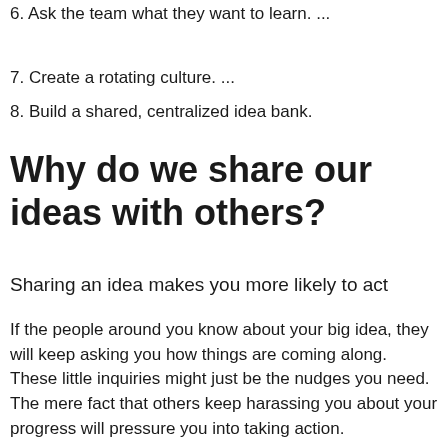6. Ask the team what they want to learn. ...
7. Create a rotating culture. ...
8. Build a shared, centralized idea bank.
Why do we share our ideas with others?
Sharing an idea makes you more likely to act
If the people around you know about your big idea, they will keep asking you how things are coming along. These little inquiries might just be the nudges you need. The mere fact that others keep harassing you about your progress will pressure you into taking action.